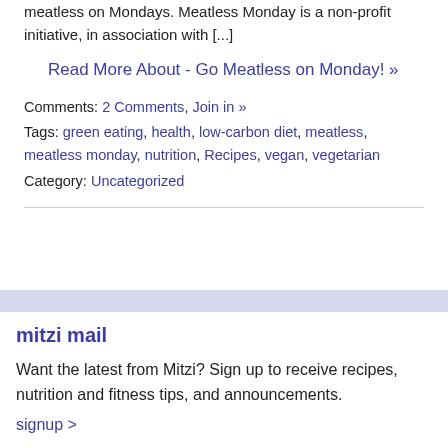meatless on Mondays. Meatless Monday is a non-profit initiative, in association with [...]
Read More About - Go Meatless on Monday! »
Comments: 2 Comments, Join in »
Tags: green eating, health, low-carbon diet, meatless, meatless monday, nutrition, Recipes, vegan, vegetarian
Category: Uncategorized
mitzi mail
Want the latest from Mitzi? Sign up to receive recipes, nutrition and fitness tips, and announcements.
signup >